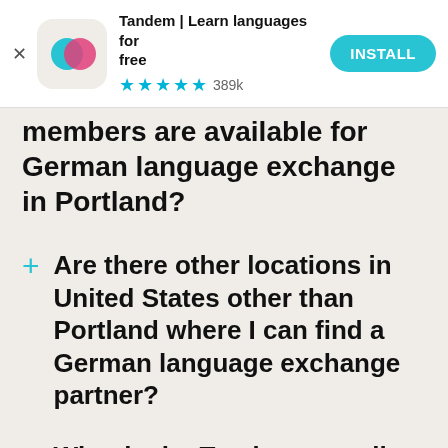[Figure (screenshot): Tandem app install ad banner with icon, star rating (4.5 stars, 389k reviews), app title 'Tandem | Learn languages for free', and INSTALL button]
members are available for German language exchange in Portland?
Are there other locations in United States other than Portland where I can find a German language exchange partner?
What is the Tandem app all about?